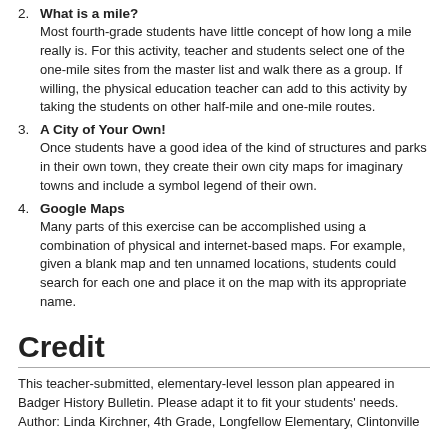2. What is a mile? Most fourth-grade students have little concept of how long a mile really is. For this activity, teacher and students select one of the one-mile sites from the master list and walk there as a group. If willing, the physical education teacher can add to this activity by taking the students on other half-mile and one-mile routes.
3. A City of Your Own! Once students have a good idea of the kind of structures and parks in their own town, they create their own city maps for imaginary towns and include a symbol legend of their own.
4. Google Maps Many parts of this exercise can be accomplished using a combination of physical and internet-based maps. For example, given a blank map and ten unnamed locations, students could search for each one and place it on the map with its appropriate name.
Credit
This teacher-submitted, elementary-level lesson plan appeared in Badger History Bulletin. Please adapt it to fit your students' needs. Author: Linda Kirchner, 4th Grade, Longfellow Elementary, Clintonville